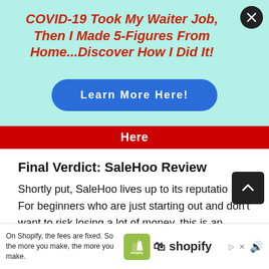[Figure (infographic): Advertisement overlay with mint green background. Headline in red bold italic: 'COVID-19 Took My Waiter Job, Then I Made 5-Figures From Home...Discover How I Did It!' with a blue rounded button 'Learn More Here!' and a close X button in top right corner.]
[Figure (infographic): Red banner bar partially visible with white text 'Here']
Final Verdict: SaleHoo Review
Shortly put, SaleHoo lives up to its reputation. For beginners who are just starting out and don't want to risk losing a lot of money, this is an excellent choice. Besides the training, it also
[Figure (infographic): Bottom advertisement bar for Shopify with text: 'On Shopify, the fees are fixed. So the more you make, the more you make.' with Shopify bag logo and wordmark, plus ad controls (triangle/X icons and speaker icon).]